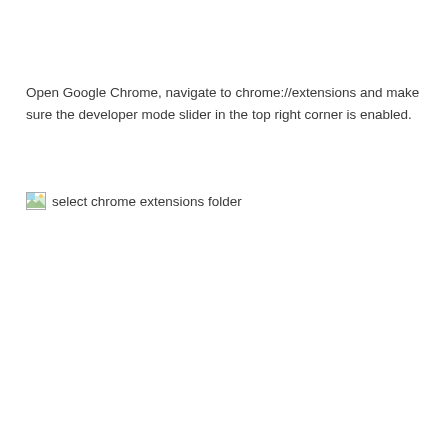Open Google Chrome, navigate to chrome://extensions and make sure the developer mode slider in the top right corner is enabled.
[Figure (screenshot): Broken image placeholder with alt text 'select chrome extensions folder']